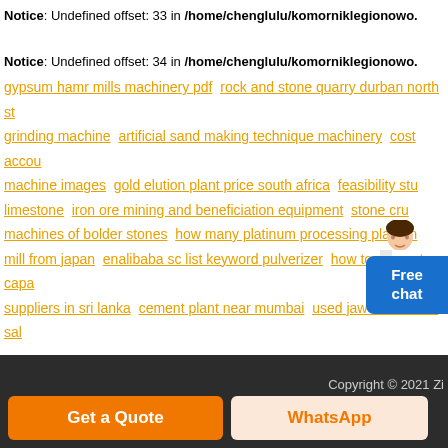Notice: Undefined offset: 33 in /home/chenglulu/komorniklegionowo.
Notice: Undefined offset: 34 in /home/chenglulu/komorniklegionowo.
gypsum hamr mills machinery pdf  rock and stone quarry durban north st  grinding machine  artificial sand making technique machinery  cost accou  machine images  gold elution plant price south africa  feasibility stu  limestone  iron ore mining and beneficiation equipment  stone cru  machines of bolder stones  how many platinum processing plant m  mill from japan  enalibaba sc list keyword pulverizer  how to calculate capa  suppliers in sri lanka  cement plant near mumbai  used jaw crushre for sal
[Figure (illustration): Customer service avatar and Free chat widget button in blue]
Copyright © 2021 Zi
Get a Quote   WhatsApp